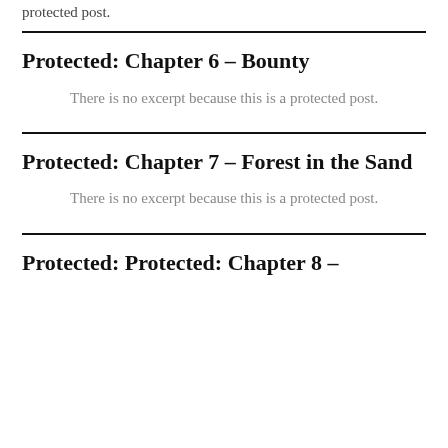protected post.
Protected: Chapter 6 – Bounty
There is no excerpt because this is a protected post.
Protected: Chapter 7 – Forest in the Sand
There is no excerpt because this is a protected post.
Protected: Protected: Chapter 8 –